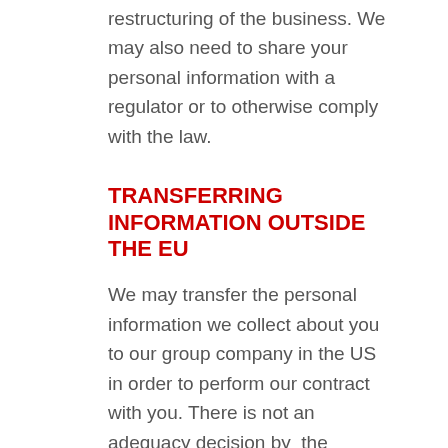restructuring of the business. We may also need to share your personal information with a regulator or to otherwise comply with the law.
TRANSFERRING INFORMATION OUTSIDE THE EU
We may transfer the personal information we collect about you to our group company in the US in order to perform our contract with you. There is not an adequacy decision by the European Commission in respect of the US and this means that the US is not deemed to